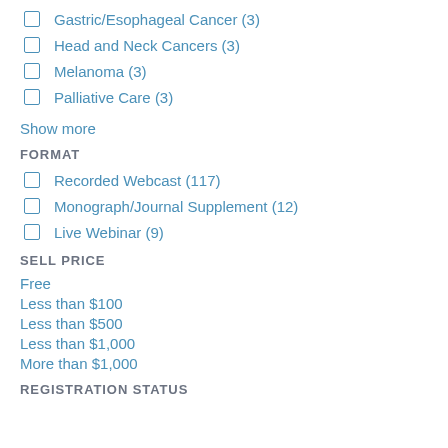Gastric/Esophageal Cancer (3)
Head and Neck Cancers (3)
Melanoma (3)
Palliative Care (3)
Show more
FORMAT
Recorded Webcast (117)
Monograph/Journal Supplement (12)
Live Webinar (9)
SELL PRICE
Free
Less than $100
Less than $500
Less than $1,000
More than $1,000
REGISTRATION STATUS